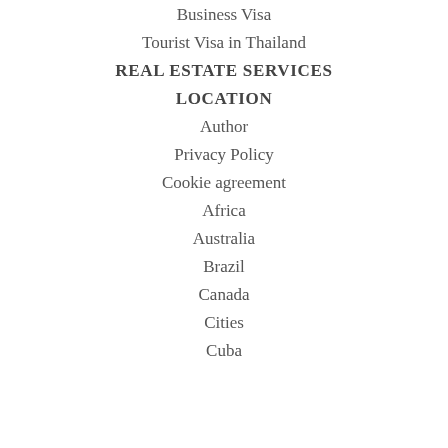Business Visa
Tourist Visa in Thailand
REAL ESTATE SERVICES
LOCATION
Author
Privacy Policy
Cookie agreement
Africa
Australia
Brazil
Canada
Cities
Cuba